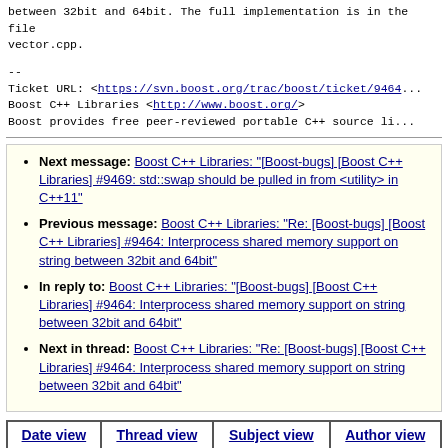between 32bit and 64bit. The full implementation is in the file vector.cpp.
--
Ticket URL: <https://svn.boost.org/trac/boost/ticket/9464...>
Boost C++ Libraries <http://www.boost.org/>
Boost provides free peer-reviewed portable C++ source li...
Next message: Boost C++ Libraries: "[Boost-bugs] [Boost C++ Libraries] #9469: std::swap should be pulled in from <utility> in C++11"
Previous message: Boost C++ Libraries: "Re: [Boost-bugs] [Boost C++ Libraries] #9464: Interprocess shared memory support on string between 32bit and 64bit"
In reply to: Boost C++ Libraries: "[Boost-bugs] [Boost C++ Libraries] #9464: Interprocess shared memory support on string between 32bit and 64bit"
Next in thread: Boost C++ Libraries: "Re: [Boost-bugs] [Boost C++ Libraries] #9464: Interprocess shared memory support on string between 32bit and 64bit"
| Date view | Thread view | Subject view | Author view |
| --- | --- | --- | --- |
This archive was generated by hypermail 2.1.7 : 2017-02-16 18:50:14 UTC